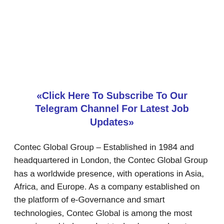«Click Here To Subscribe To Our Telegram Channel For Latest Job Updates»
Contec Global Group – Established in 1984 and headquartered in London, the Contec Global Group has a worldwide presence, with operations in Asia, Africa, and Europe. As a company established on the platform of e-Governance and smart technologies, Contec Global is among the most experienced independent technology and systems organizations operating in developing countries. Today, the Group is engaged, globally, in providing